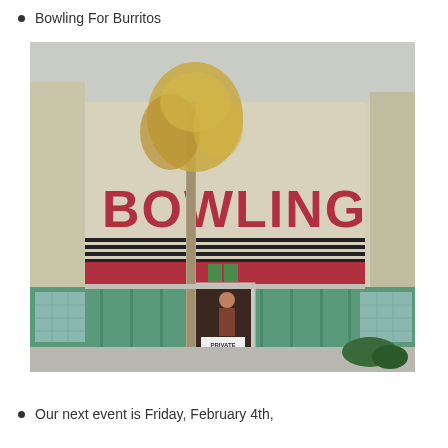Bowling For Burritos
[Figure (photo): Exterior photograph of a retro bowling alley building with large red 'BOWLING' sign on a cream/beige wall, teal/green tile facade at the bottom, a bare tree in front, and a door with a 'PRIVATE PARTY' sign.]
Our next event is Friday, February 4th,